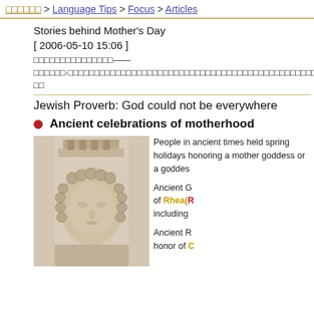□□□□□□ > Language Tips > Focus > Articles
Stories behind Mother's Day
[ 2006-05-10 15:06 ]
□□□□□□□□□□□□□□□——□□□□□□·□□□□□□□□□□□□□□□□□□□□□□□□□□□□□□□□□□□□□□□□□□□□□□□□□□□□□□□□□□□□□□□□□□□□□□□□□□□□□□□□□□□□□□□□□□□□
Jewish Proverb: God could not be everywhere
Ancient celebrations of motherhood
[Figure (photo): Stone sculpture bust of a goddess wearing a crown, with curly hair, ancient Greco-Roman style]
People in ancient times held spring holidays honoring a mother goddess or a goddess of fertility.
Ancient Greeks held spring festivals in honor of Rhea(□□□□□), the mother of gods, including □□□□□□□□□□□.
Ancient Romans also celebrated in honor of □□□□□□□□□□□